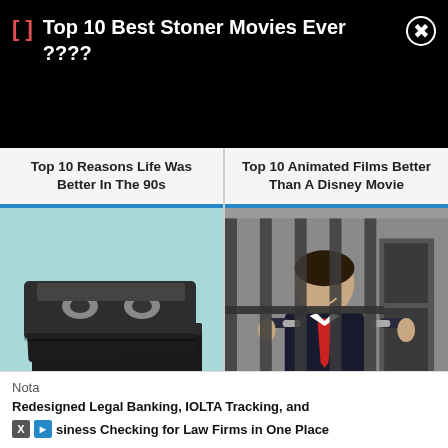Top 10 Best Stoner Movies Ever ????
Top 10 Reasons Life Was Better In The 90s
Top 10 Animated Films Better Than A Disney Movie
[Figure (photo): Stack of VHS tapes on a light blue background]
[Figure (photo): Man in suit smiling and giving thumbs up behind prison bars]
Nota
Redesigned Legal Banking, IOLTA Tracking, and Business Checking for Law Firms in One Place